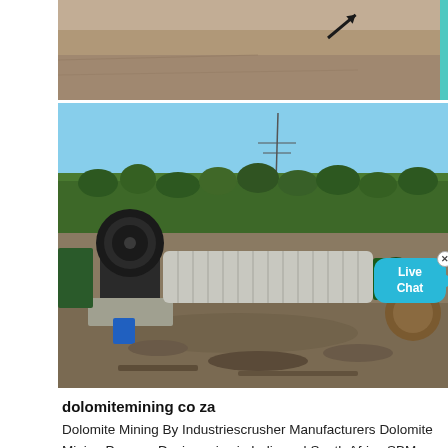[Figure (photo): Aerial or ground-level photo of a mining site with earth and rock terrain, with an arrow marking visible]
[Figure (photo): Industrial mining equipment - a large horizontal ball mill or rotary drum on a construction site, with hills and trees in background, blue sky. A 'Live Chat' bubble overlay is visible in the top-right area of the image.]
dolomitemining co za
Dolomite Mining By Industriescrusher Manufacturers Dolomite Mining Process Design price in India and South Africa SBM SBM is a leading dolomite mining equipment manufacturer in China SBM dolomite mining equipments